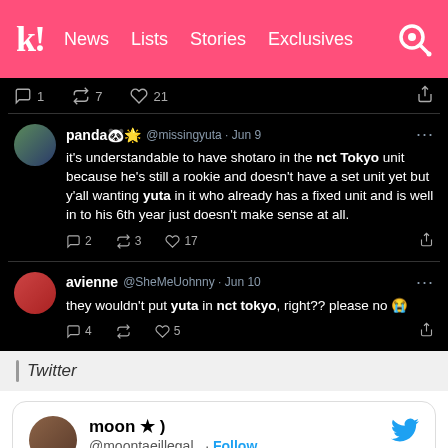k! News Lists Stories Exclusives
[Figure (screenshot): Twitter dark mode screenshot showing two tweets. Tweet 1 by panda @missingyuta Jun 9: it's understandable to have shotaro in the nct Tokyo unit because he's still a rookie and doesn't have a set unit yet but y'all wanting yuta in it who already has a fixed unit and is well in to his 6th year just doesn't make sense at all. Engagement: 2 replies, 3 retweets, 17 likes. Tweet 2 by avienne @SheMeUohnny Jun 10: they wouldn't put yuta in nct tokyo, right?? please no crying emoji. Engagement: 4 replies, retweets, 5 likes.]
Twitter
[Figure (screenshot): Embedded tweet card by moon ★ ) @moontaeillegal_ with Follow button and Twitter bird icon. Tweet text: i'm glad they will not separate yuta from nct 127 and i'm really hoping shotaro will]